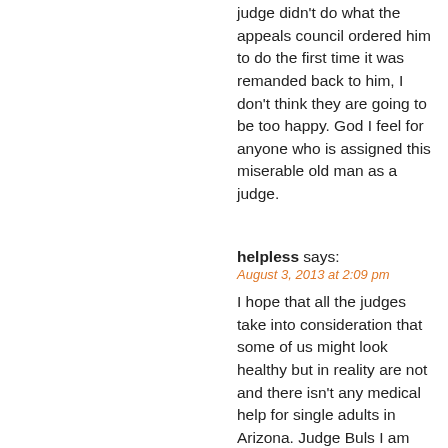judge didn't do what the appeals council ordered him to do the first time it was remanded back to him, I don't think they are going to be too happy. God I feel for anyone who is assigned this miserable old man as a judge.
helpless says:
August 3, 2013 at 2:09 pm
I hope that all the judges take into consideration that some of us might look healthy but in reality are not and there isn't any medical help for single adults in Arizona. Judge Buls I am asking for more consideration, than just your Doctors evaluation which he was more concerned that my teeth were still there, would not